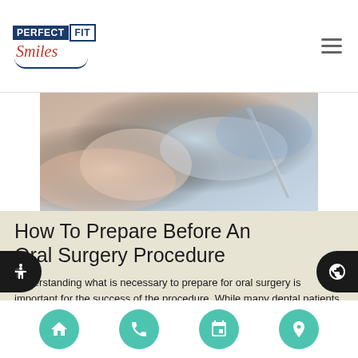[Figure (logo): Perfect Fit Smiles dental clinic logo with blue and white text and smile arc]
[Figure (photo): Close-up photo of dental/oral surgery procedure being performed with instruments]
How To Prepare Before An Oral Surgery Procedure
Understanding what is necessary to prepare for oral surgery is important for the success of the procedure. While many dental patients are concerned about the recovery process after surgery, they should also be concerned about getting ready for the procedure. When patients are fully prepared, they are more likely to experience positive outcomes. Oral surgery